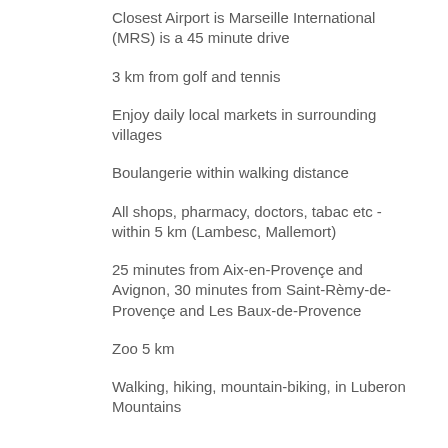Closest Airport is Marseille International (MRS) is a 45 minute drive
3 km from golf and tennis
Enjoy daily local markets in surrounding villages
Boulangerie within walking distance
All shops, pharmacy, doctors, tabac etc - within 5 km (Lambesc, Mallemort)
25 minutes from Aix-en-Provençe and Avignon, 30 minutes from Saint-Rèmy-de-Provençe and Les Baux-de-Provence
Zoo 5 km
Walking, hiking, mountain-biking, in Luberon Mountains